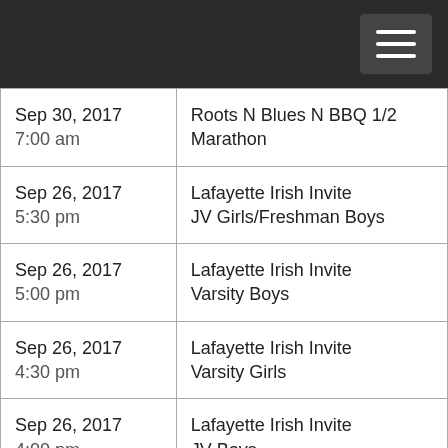| Date/Time | Event |
| --- | --- |
| Sep 30, 2017
7:00 am | Roots N Blues N BBQ 1/2 Marathon |
| Sep 26, 2017
5:30 pm | Lafayette Irish Invite
JV Girls/Freshman Boys |
| Sep 26, 2017
5:00 pm | Lafayette Irish Invite
Varsity Boys |
| Sep 26, 2017
4:30 pm | Lafayette Irish Invite
Varsity Girls |
| Sep 26, 2017
4:00 pm | Lafayette Irish Invite
JV Boys |
| Sep 24, 2017 | Broadway Bridge 10k |